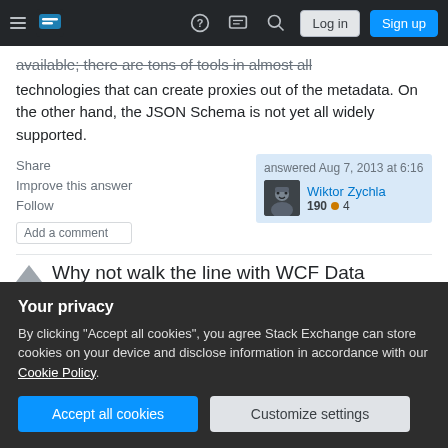Stack Exchange navigation bar with hamburger menu, logo, help, chat, search icons, Log in and Sign up buttons
available; there are tons of tools in almost all technologies that can create proxies out of the metadata. On the other hand, the JSON Schema is not yet all widely supported.
Share | answered Aug 7, 2013 at 6:16
Improve this answer | Wiktor Zychla 190 ● 4
Follow
Add a comment
Why not walk the line with WCF Data Services?
Your privacy
By clicking "Accept all cookies", you agree Stack Exchange can store cookies on your device and disclose information in accordance with our Cookie Policy.
Accept all cookies | Customize settings